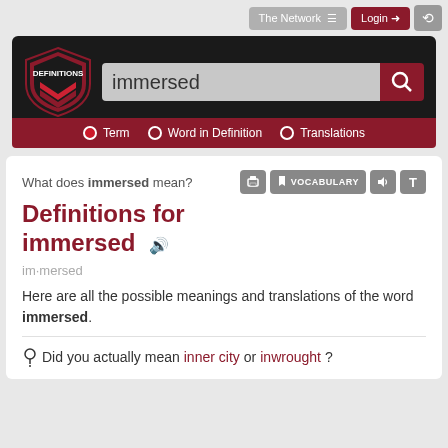The Network   Login   [history]
[Figure (screenshot): Definitions.net website screenshot showing search for 'immersed']
What does immersed mean?
Definitions for immersed
im·mersed
Here are all the possible meanings and translations of the word immersed.
Did you actually mean inner city or inwrought?